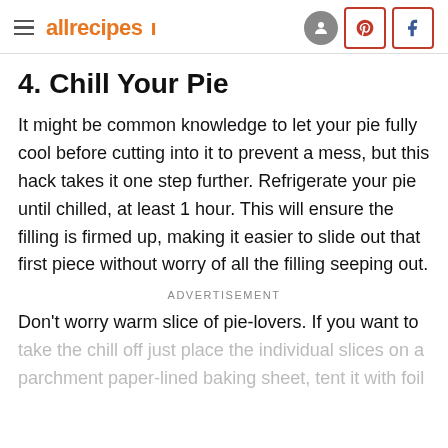allrecipes
4. Chill Your Pie
It might be common knowledge to let your pie fully cool before cutting into it to prevent a mess, but this hack takes it one step further. Refrigerate your pie until chilled, at least 1 hour. This will ensure the filling is firmed up, making it easier to slide out that first piece without worry of all the filling seeping out.
ADVERTISEMENT
Don't worry warm slice of pie-lovers. If you want to take the chill off just place the individual slices on a parchment paper-lined baking sheet, tent it with foil